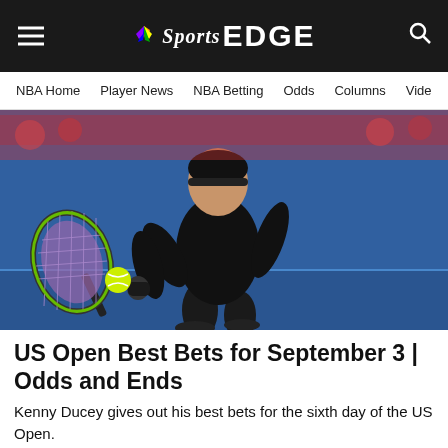NBC Sports EDGE
NBA Home   Player News   NBA Betting   Odds   Columns   Vide
[Figure (photo): Tennis player in black shirt hitting a backhand shot with a racket, yellow tennis ball visible, blue court background]
US Open Best Bets for September 3 | Odds and Ends
Kenny Ducey gives out his best bets for the sixth day of the US Open.
NBC Sports Edge
[Figure (photo): Group of people standing together on a city street, urban background with buildings and traffic lights]